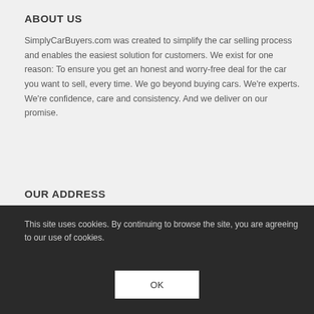ABOUT US
SimplyCarBuyers.com was created to simplify the car selling process and enables the easiest solution for customers. We exist for one reason: To ensure you get an honest and worry-free deal for the car you want to sell, every time. We go beyond buying cars. We're experts. We're confidence, care and consistency. And we deliver on our promise.
OUR ADDRESS
Main Branch
Al-Zomorrud Street - Al-Quoz 3
Dubai, UAE
Phone: 800 25
Fax: +971 4 33 862 92
Email: info@simplycarbuy...
This site uses cookies. By continuing to browse the site, you are agreeing to our use of cookies.